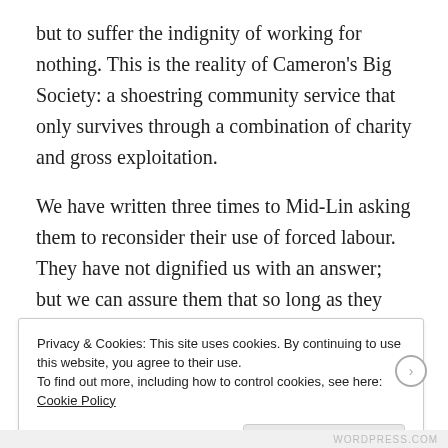but to suffer the indignity of working for nothing. This is the reality of Cameron's Big Society: a shoestring community service that only survives through a combination of charity and gross exploitation.
We have written three times to Mid-Lin asking them to reconsider their use of forced labour. They have not dignified us with an answer; but we can assure them that so long as they continue with this exploitation we will take every
Privacy & Cookies: This site uses cookies. By continuing to use this website, you agree to their use.
To find out more, including how to control cookies, see here: Cookie Policy